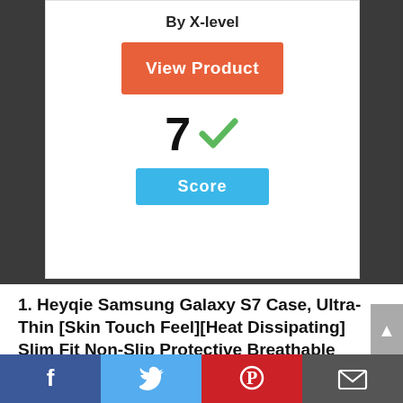By X-level
View Product
7 ✓
Score
1. Heyqie Samsung Galaxy S7 Case, Ultra-Thin [Skin Touch Feel][Heat Dissipating] Slim Fit Non-Slip Protective Breathable Cooling Hard Plastic Back Cover Case for Samsung Galaxy S7, Blue